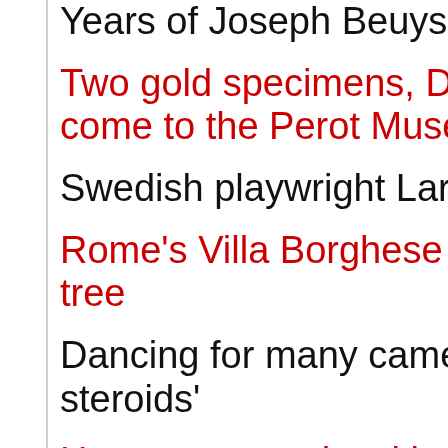Years of Joseph Beuys
Two gold specimens, Drag… come to the Perot Museum
Swedish playwright Lars N…
Rome's Villa Borghese we… tree
Dancing for many cameras… steroids'
How coursework writing se…